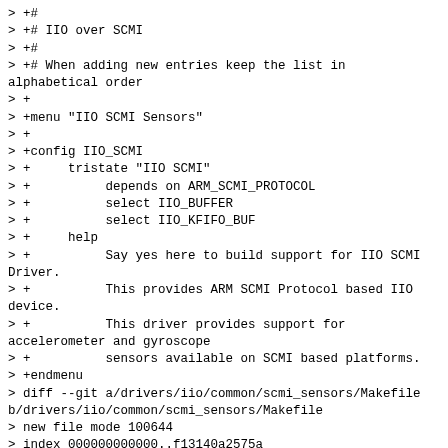> +#
> +# IIO over SCMI
> +#
> +# When adding new entries keep the list in alphabetical order
> +
> +menu "IIO SCMI Sensors"
> +
> +config IIO_SCMI
> +	 tristate "IIO SCMI"
> +		 depends on ARM_SCMI_PROTOCOL
> +		 select IIO_BUFFER
> +		 select IIO_KFIFO_BUF
> +	 help
> +		 Say yes here to build support for IIO SCMI Driver.
> +		 This provides ARM SCMI Protocol based IIO device.
> +		 This driver provides support for accelerometer and gyroscope
> +		 sensors available on SCMI based platforms.
> +endmenu
> diff --git a/drivers/iio/common/scmi_sensors/Makefile b/drivers/iio/common/scmi_sensors/Makefile
> new file mode 100644
> index 000000000000..f13140a2575a
> --- /dev/null
> +++ b/drivers/iio/common/scmi_sensors/Makefile
> @@ -0,0 +1,5 @@
> +# SPDX - License - Identifier : GPL - 2.0 - only